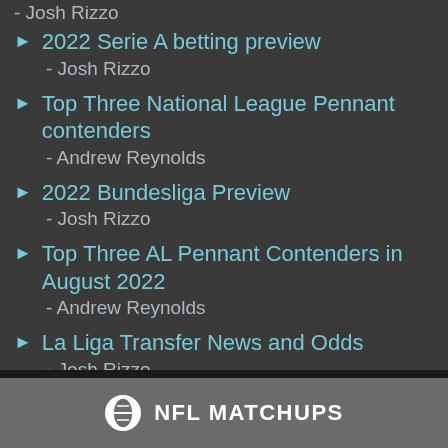- Josh Rizzo
2022 Serie A betting preview
- Josh Rizzo
Top Three National League Pennant contenders
- Andrew Reynolds
2022 Bundesliga Preview
- Josh Rizzo
Top Three AL Pennant Contenders in August 2022
- Andrew Reynolds
La Liga Transfer News and Odds
- Josh Rizzo
NFL MATCHUPS